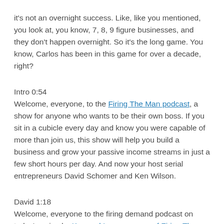it's not an overnight success. Like, like you mentioned, you look at, you know, 7, 8, 9 figure businesses, and they don't happen overnight. So it's the long game. You know, Carlos has been in this game for over a decade, right?
Intro 0:54
Welcome, everyone, to the Firing The Man podcast, a show for anyone who wants to be their own boss. If you sit in a cubicle every day and know you were capable of more than join us, this show will help you build a business and grow your passive income streams in just a few short hours per day. And now your host serial entrepreneurs David Schomer and Ken Wilson.
David 1:18
Welcome, everyone to the firing demand podcast on today's episode, Ken and I recap a year of Firing The Man podcast, a show for anyone, and identify our top five favorite